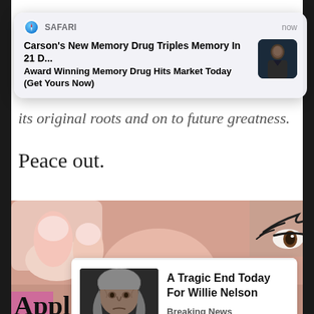[Figure (screenshot): Safari push notification banner: 'Carson's New Memory Drug Triples Memory In 21 D...' / 'Award Winning Memory Drug Hits Market Today (Get Yours Now)' with thumbnail of person, time shown as 'now']
its original roots and on to future greatness.
Peace out.
[Figure (photo): Close-up photo of a woman's face - nose and eye visible with manicured fingers near her nose]
[Figure (screenshot): Ad card: 'A Tragic End Today For Willie Nelson' / 'Breaking News' with thumbnail of elderly man]
Appl